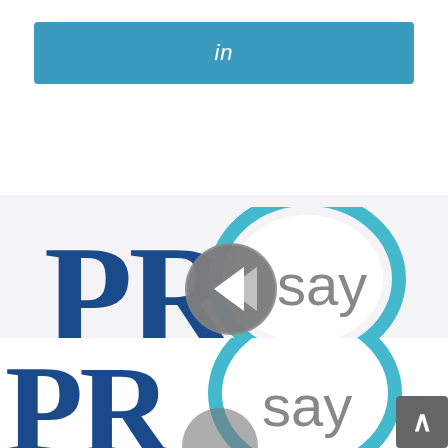[Figure (logo): LinkedIn share button bar — a teal/blue rounded rectangle with the text 'in' in white italic font centered inside]
[Figure (logo): PRsay logo: large bold dark blue 'PR' text with a teal speech bubble graphic containing 'say' in gray text; overlaid with a circular play/back navigation button in the center]
What's the Cost of Plagiarism?
[Figure (logo): Partial PRsay logo repeated at the bottom of the page, cropped, with a scroll-up arrow button in dark gray at bottom right]